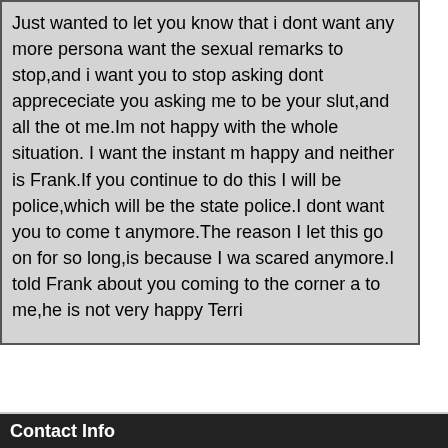Just wanted to let you know that i dont want any more persona want the sexual remarks to stop,and i want you to stop asking dont apprececiate you asking me to be your slut,and all the ot me.Im not happy with the whole situation. I want the instant m happy and neither is Frank.If you continue to do this I will be police,which will be the state police.I dont want you to come t anymore.The reason I let this go on for so long,is because I wa scared anymore.I told Frank about you coming to the corner a to me,he is not very happy Terri
Contact Info